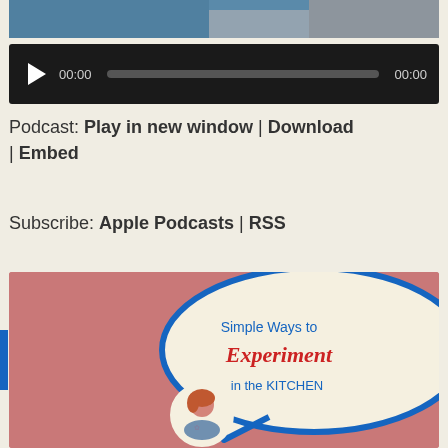[Figure (photo): Partial cropped photo at top of page showing a person with a pet, blue and warm tones]
[Figure (screenshot): Audio player widget with dark background, play button, 00:00 timestamp, progress bar, and 00:00 end time]
Podcast: Play in new window | Download | Embed
Subscribe: Apple Podcasts | RSS
[Figure (illustration): Podcast artwork with dusty rose/pink background, blue outlined speech bubble shape with cream interior, text reading 'Simple Ways to Experiment in the KITCHEN' in blue and red cursive script, small circular portrait of a red-haired woman in bottom left]